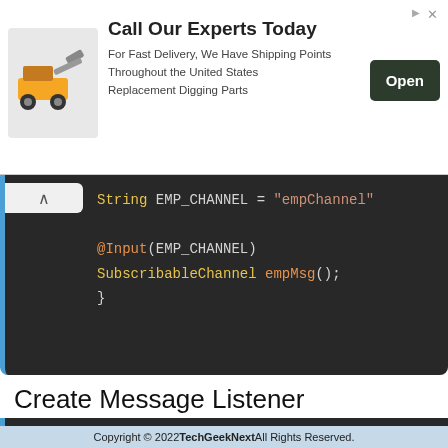[Figure (screenshot): Advertisement banner: image of construction equipment on left, heading 'Call Our Experts Today', body text 'For Fast Delivery, We Have Shipping Points Throughout the United States Replacement Digging Parts', and an 'Open' button on right.]
[Figure (screenshot): Code editor screenshot showing Java/Spring code: String EMP_CHANNEL = "empChannel"; @Input(EMP_CHANNEL) SubscribableChannel empMsg(); } with syntax highlighting on dark background. A collapse button (^) is visible on the left.]
Create Message Listener
[Figure (screenshot): Code editor screenshot showing beginning of Java package declaration: package com.tech.geek.next.emp.spring... and two import statements import org.springframework.cloud.strea... (truncated). A 'Close X' overlay button is visible. Dark background with syntax highlighting.]
[Figure (screenshot): Bottom advertisement bar: GSPANN logo, 'White Paper' label, 'Use AIOps To Make Your...' text, Learn More button.]
Copyright © 2022 TechGeekNext All Rights Reserved.